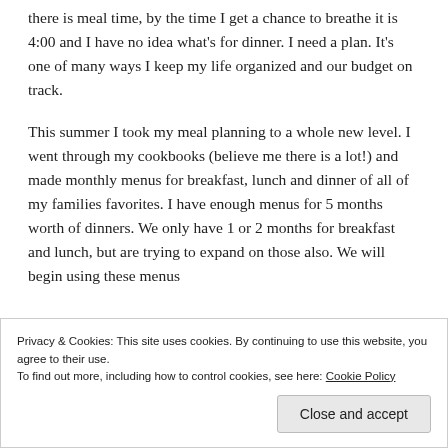there is meal time, by the time I get a chance to breathe it is 4:00 and I have no idea what's for dinner. I need a plan. It's one of many ways I keep my life organized and our budget on track.
This summer I took my meal planning to a whole new level. I went through my cookbooks (believe me there is a lot!) and made monthly menus for breakfast, lunch and dinner of all of my families favorites. I have enough menus for 5 months worth of dinners. We only have 1 or 2 months for breakfast and lunch, but are trying to expand on those also. We will begin using these menus
Privacy & Cookies: This site uses cookies. By continuing to use this website, you agree to their use.
To find out more, including how to control cookies, see here: Cookie Policy